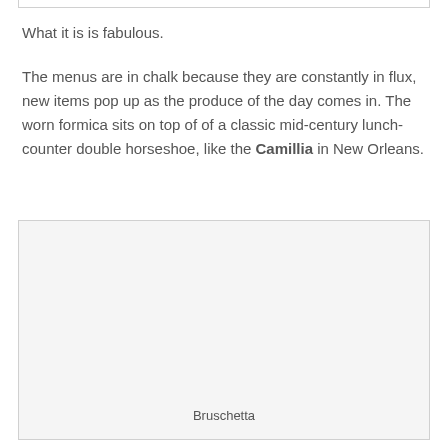[Figure (photo): Partial bottom edge of an image visible at the top of the page]
What it is is fabulous.
The menus are in chalk because they are constantly in flux, new items pop up as the produce of the day comes in. The worn formica sits on top of of a classic mid-century lunch-counter double horseshoe, like the Camillia in New Orleans.
[Figure (photo): Large photo placeholder (Bruschetta)]
Bruschetta